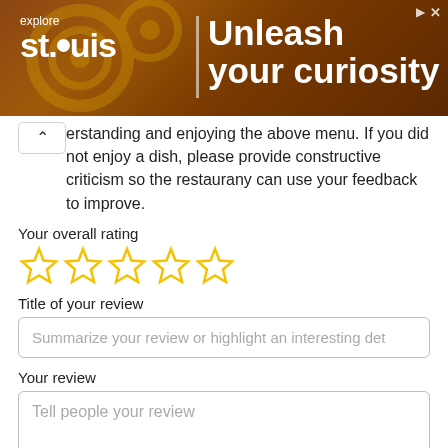[Figure (screenshot): Advertisement banner for Explore St. Louis with text 'explore st.louis | Unleash your curiosity' on a dark brown background with gear imagery]
erstanding and enjoying the above menu. If you did not enjoy a dish, please provide constructive criticism so the restaurany can use your feedback to improve.
Your overall rating
[Figure (other): 5 gold/yellow star rating icons (empty/outline stars)]
Title of your review
Summarize your review or highlight an interesting det
Your review
Tell people your review